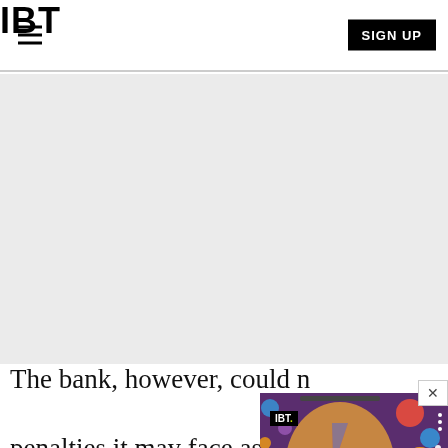IBT  SIGN UP
[Figure (other): Gray advertisement placeholder area]
[Figure (photo): Video thumbnail showing a person with colorful face paint (David Bowie Ziggy Stardust style) surrounded by colorful spheres/bubbles, with IBT logo badge and title 'NewSpiderGenus,Se...' overlay]
The bank, however, could not quantify the penalties it may face as a defendant in a number of class action lawsuits filed in the United States